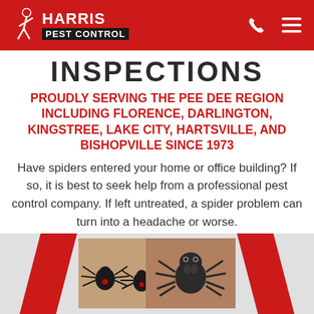Harris Pest Control
INSPECTIONS
PROUDLY SERVING THE PEE DEE REGION INCLUDING FLORENCE, DARLINGTON, KINGSTREE, LAKE CITY, HARTSVILLE, AND BISHOPVILLE SINCE 1973
Have spiders entered your home or office building? If so, it is best to seek help from a professional pest control company. If left untreated, a spider problem can turn into a headache or worse.
[Figure (photo): Close-up photo of black widow spiders]
[Figure (photo): Close-up photo of a spider]